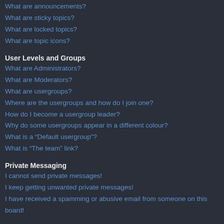What are announcements?
What are sticky topics?
What are locked topics?
What are topic icons?
User Levels and Groups
What are Administrators?
What are Moderators?
What are usergroups?
Where are the usergroups and how do I join one?
How do I become a usergroup leader?
Why do some usergroups appear in a different colour?
What is a "Default usergroup"?
What is "The team" link?
Private Messaging
I cannot send private messages!
I keep getting unwanted private messages!
I have received a spamming or abusive email from someone on this board!
Friends and Foes
What are my Friends and Foes lists?
How can I add / remove users to my Friends or Foes list?
Searching the Forums
How can I search a forum or forums?
Why does my search return no results?
Why does my search return a blank page!?